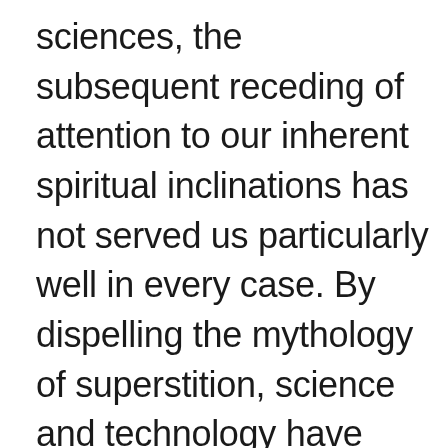sciences, the subsequent receding of attention to our inherent spiritual inclinations has not served us particularly well in every case. By dispelling the mythology of superstition, science and technology have served a good purpose, eliminating ignorance and revealing many important truths, but it seems to me that they fail